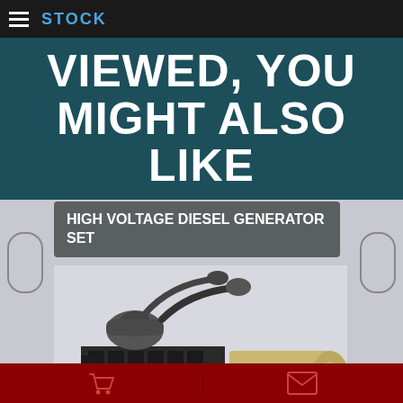STOCK
VIEWED, YOU MIGHT ALSO LIKE
HIGH VOLTAGE DIESEL GENERATOR SET
[Figure (photo): Industrial high voltage diesel generator set on a platform, with large engine block and alternator, star rating shown below]
20 UNITS